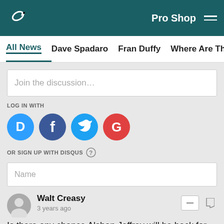Philadelphia Eagles | Pro Shop
All News | Dave Spadaro | Fran Duffy | Where Are They Now? | Pu
Join the discussion...
LOG IN WITH
[Figure (infographic): Social login icons: Disqus (D), Facebook (f), Twitter bird, Google (G)]
OR SIGN UP WITH DISQUS ?
Name
Walt Creasy
3 years ago
Is there any chance Alshon Jeffrey will be back for the playoffs,
[Figure (infographic): Share icons: Facebook, Twitter, Email, Link]